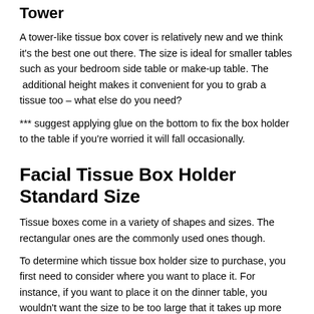Tower
A tower-like tissue box cover is relatively new and we think it's the best one out there. The size is ideal for smaller tables such as your bedroom side table or make-up table. The  additional height makes it convenient for you to grab a tissue too – what else do you need?
*** suggest applying glue on the bottom to fix the box holder to the table if you're worried it will fall occasionally.
Facial Tissue Box Holder Standard Size
Tissue boxes come in a variety of shapes and sizes. The rectangular ones are the commonly used ones though.
To determine which tissue box holder size to purchase, you first need to consider where you want to place it. For instance, if you want to place it on the dinner table, you wouldn't want the size to be too large that it takes up more space than other items on the